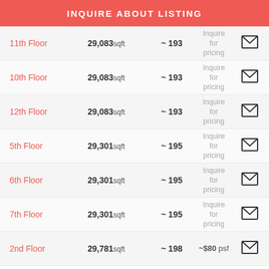INQUIRE ABOUT LISTING
| Floor | Size | Approx | Price | Contact |
| --- | --- | --- | --- | --- |
| 11th Floor | 29,083sqft | ~ 193 | Inquire for pricing | ✉ |
| 10th Floor | 29,083sqft | ~ 193 | Inquire for pricing | ✉ |
| 12th Floor | 29,083sqft | ~ 193 | Inquire for pricing | ✉ |
| 5th Floor | 29,301sqft | ~ 195 | Inquire for pricing | ✉ |
| 6th Floor | 29,301sqft | ~ 195 | Inquire for pricing | ✉ |
| 7th Floor | 29,301sqft | ~ 195 | Inquire for pricing | ✉ |
| 2nd Floor | 29,781sqft | ~ 198 | ~$80 psf | ✉ |